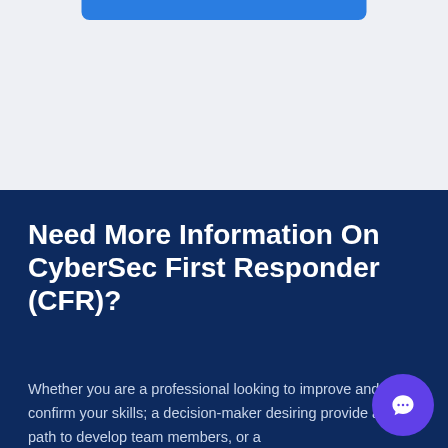[Figure (other): Top light gray section with a blue rounded button/bar at the top center]
Need More Information On CyberSec First Responder (CFR)?
Whether you are a professional looking to improve and confirm your skills; a decision-maker desiring provide a path to develop team members, or a